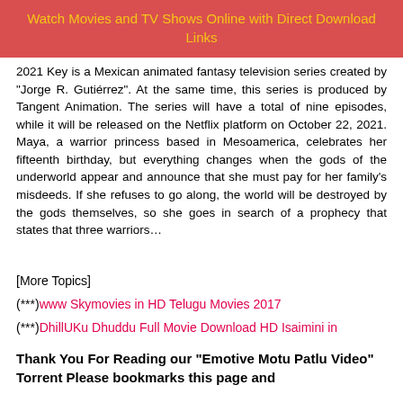Watch Movies and TV Shows Online with Direct Download Links
2021 Key is a Mexican animated fantasy television series created by "Jorge R. Gutiérrez". At the same time, this series is produced by Tangent Animation. The series will have a total of nine episodes, while it will be released on the Netflix platform on October 22, 2021. Maya, a warrior princess based in Mesoamerica, celebrates her fifteenth birthday, but everything changes when the gods of the underworld appear and announce that she must pay for her family's misdeeds. If she refuses to go along, the world will be destroyed by the gods themselves, so she goes in search of a prophecy that states that three warriors…
[More Topics]
(***)www Skymovies in HD Telugu Movies 2017
(***)DhillUKu Dhuddu Full Movie Download HD Isaimini in
Thank You For Reading our "Emotive Motu Patlu Video" Torrent Please bookmarks this page and